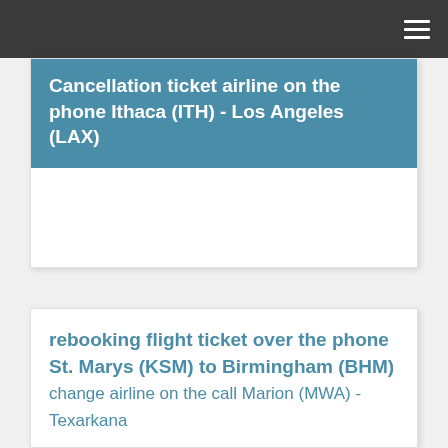☰
Cancellation ticket airline on the phone Ithaca (ITH) - Los Angeles (LAX)
rebooking flight ticket over the phone St. Marys (KSM) to Birmingham (BHM) change airline on the call Marion (MWA) - Texarkana